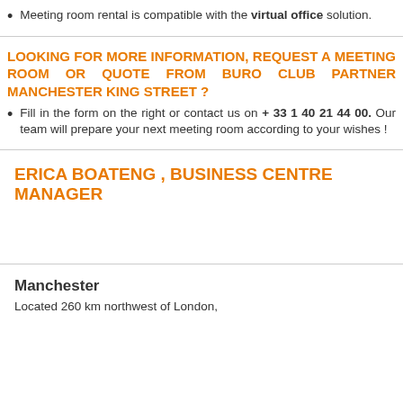Meeting room rental is compatible with the virtual office solution.
LOOKING FOR MORE INFORMATION, REQUEST A MEETING ROOM OR QUOTE FROM BURO CLUB PARTNER MANCHESTER KING STREET ?
Fill in the form on the right or contact us on + 33 1 40 21 44 00. Our team will prepare your next meeting room according to your wishes !
ERICA BOATENG , BUSINESS CENTRE MANAGER
Manchester
Located 260 km northwest of London,